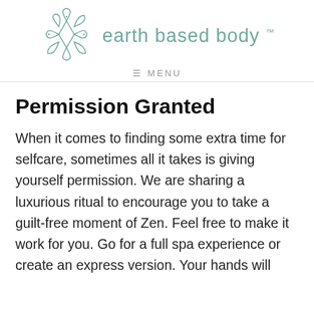[Figure (logo): Earth Based Body logo: a geometric flower/lotus outline in teal/sage green color, with lines radiating outward.]
earth based body ™
≡ MENU
Permission Granted
When it comes to finding some extra time for selfcare, sometimes all it takes is giving yourself permission. We are sharing a luxurious ritual to encourage you to take a guilt-free moment of Zen. Feel free to make it work for you. Go for a full spa experience or create an express version. Your hands will